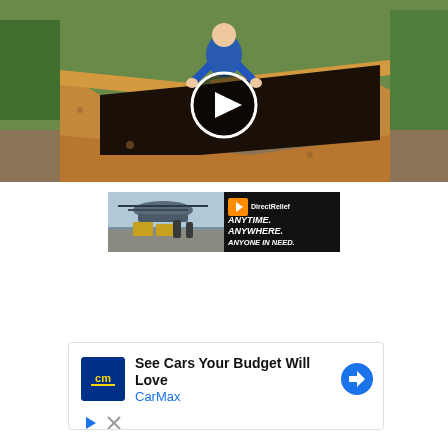[Figure (photo): Video thumbnail of a wooden raised garden bed filled with dark soil, person in blue shirt standing behind it, green trees in background. Play button overlay in center.]
[Figure (photo): DirectRelief advertisement banner. Left side shows military personnel unloading cargo from helicopter. Right black side reads 'ANYTIME. ANYWHERE. ANYONE IN NEED.' with DirectRelief logo.]
[Figure (other): CarMax advertisement. Blue square logo with 'cm' text in yellow. Headline: 'See Cars Your Budget Will Love'. Subtext: 'CarMax' in blue. Blue diamond arrow icon on right. Play and close icons below.]